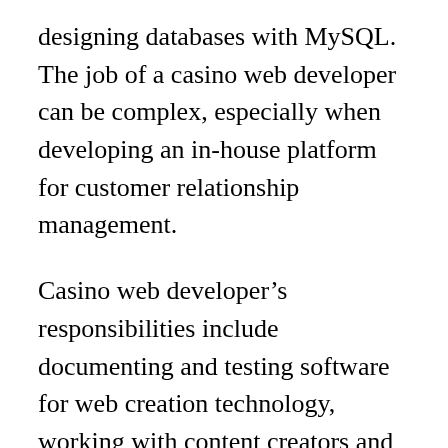designing databases with MySQL. The job of a casino web developer can be complex, especially when developing an in-house platform for customer relationship management.
Casino web developer's responsibilities include documenting and testing software for web creation technology, working with content creators and designers, writing code to generate databases, web pages, and improving server skills. They also change, write code to add site functionality, and debug them to improve the user experience.
A casino's internal auditor manages casino